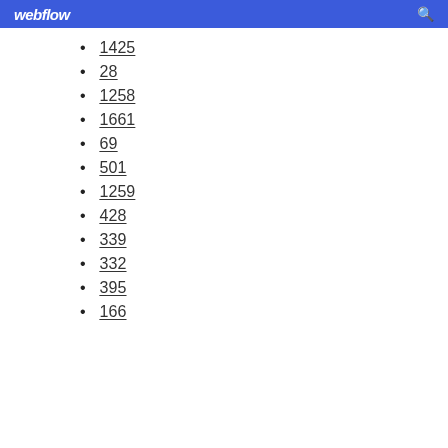webflow
1425
28
1258
1661
69
501
1259
428
339
332
395
166